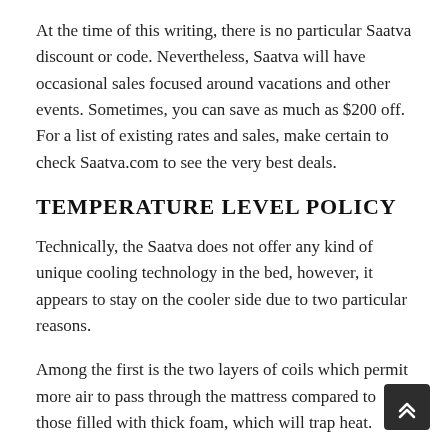At the time of this writing, there is no particular Saatva discount or code. Nevertheless, Saatva will have occasional sales focused around vacations and other events. Sometimes, you can save as much as $200 off. For a list of existing rates and sales, make certain to check Saatva.com to see the very best deals.
TEMPERATURE LEVEL POLICY
Technically, the Saatva does not offer any kind of unique cooling technology in the bed, however, it appears to stay on the cooler side due to two particular reasons.
Among the first is the two layers of coils which permit more air to pass through the mattress compared to those filled with thick foam, which will trap heat.